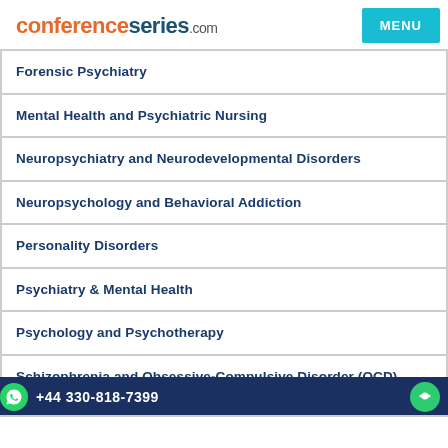conferenceseries.com | MENU
Forensic Psychiatry
Mental Health and Psychiatric Nursing
Neuropsychiatry and Neurodevelopmental Disorders
Neuropsychology and Behavioral Addiction
Personality Disorders
Psychiatry & Mental Health
Psychology and Psychotherapy
Schizophrenia and Obsessive-Compulsive Disorder (OCD)
+44 330-818-7399